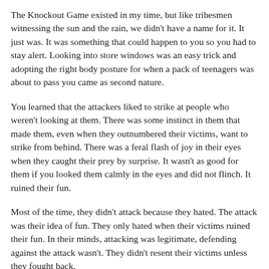The Knockout Game existed in my time, but like tribesmen witnessing the sun and the rain, we didn't have a name for it. It just was. It was something that could happen to you so you had to stay alert. Looking into store windows was an easy trick and adopting the right body posture for when a pack of teenagers was about to pass you came as second nature.
You learned that the attackers liked to strike at people who weren't looking at them. There was some instinct in them that made them, even when they outnumbered their victims, want to strike from behind. There was a feral flash of joy in their eyes when they caught their prey by surprise. It wasn't as good for them if you looked them calmly in the eyes and did not flinch. It ruined their fun.
Most of the time, they didn't attack because they hated. The attack was their idea of fun. They only hated when their victims ruined their fun. In their minds, attacking was legitimate, defending against the attack wasn't. They didn't resent their victims unless they fought back.
That was life in New York City. It's about to be life in New...